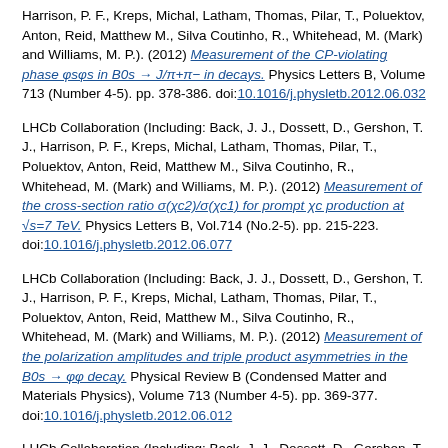Harrison, P. F., Kreps, Michal, Latham, Thomas, Pilar, T., Poluektov, Anton, Reid, Matthew M., Silva Coutinho, R., Whitehead, M. (Mark) and Williams, M. P.). (2012) Measurement of the CP-violating phase φsφs in B0s → J/π+π− in decays. Physics Letters B, Volume 713 (Number 4-5). pp. 378-386. doi:10.1016/j.physletb.2012.06.032
LHCb Collaboration (Including: Back, J. J., Dossett, D., Gershon, T. J., Harrison, P. F., Kreps, Michal, Latham, Thomas, Pilar, T., Poluektov, Anton, Reid, Matthew M., Silva Coutinho, R., Whitehead, M. (Mark) and Williams, M. P.). (2012) Measurement of the cross-section ratio σ(χc2)/σ(χc1) for prompt χc production at √s=7 TeV. Physics Letters B, Vol.714 (No.2-5). pp. 215-223. doi:10.1016/j.physletb.2012.06.077
LHCb Collaboration (Including: Back, J. J., Dossett, D., Gershon, T. J., Harrison, P. F., Kreps, Michal, Latham, Thomas, Pilar, T., Poluektov, Anton, Reid, Matthew M., Silva Coutinho, R., Whitehead, M. (Mark) and Williams, M. P.). (2012) Measurement of the polarization amplitudes and triple product asymmetries in the B0s → φφ decay. Physical Review B (Condensed Matter and Materials Physics), Volume 713 (Number 4-5). pp. 369-377. doi:10.1016/j.physletb.2012.06.012
LHCb Collaboration (Including: Back, J. J., Dossett, D., Gershon, T. J., Harrison, P. F., Kreps, Michal, Latham, Thomas, Pilar, T., Poluektov, Anton, Reid, Matthew M., Silva Coutinho, R., Whitehead, M. (Mark) and Williams,